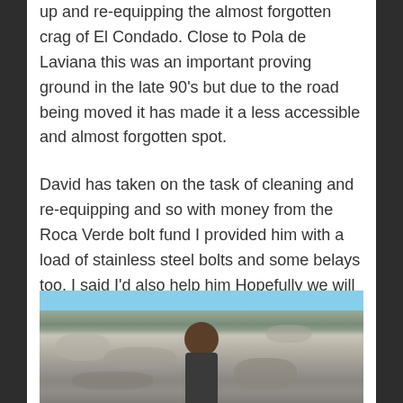up and re-equipping the almost forgotten crag of El Condado. Close to Pola de Laviana this was an important proving ground in the late 90's but due to the road being moved it has made it a less accessible and almost forgotten spot.
David has taken on the task of cleaning and re-equipping and so with money from the Roca Verde bolt fund I provided him with a load of stainless steel bolts and some belays too. I said I'd also help him Hopefully we will also produce new topos for the area and re-vitalise this one popular spot.
[Figure (photo): A person standing in front of a rocky limestone cliff face with blue sky visible in the upper right corner.]